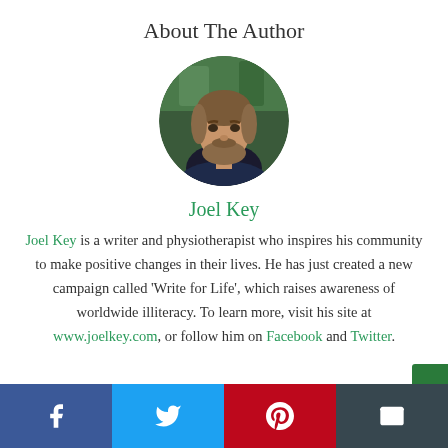About The Author
[Figure (photo): Circular profile photo of Joel Key, a man with a beard, set against a blurred background]
Joel Key
Joel Key is a writer and physiotherapist who inspires his community to make positive changes in their lives. He has just created a new campaign called 'Write for Life', which raises awareness of worldwide illiteracy. To learn more, visit his site at www.joelkey.com, or follow him on Facebook and Twitter.
[Figure (infographic): Social share bar with four buttons: Facebook (blue), Twitter (light blue), Pinterest (red), Email (dark grey)]